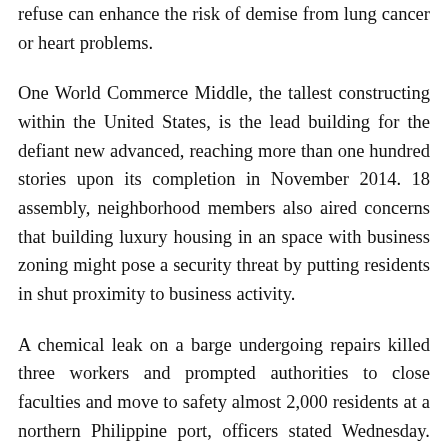refuse can enhance the risk of demise from lung cancer or heart problems.
One World Commerce Middle, the tallest constructing within the United States, is the lead building for the defiant new advanced, reaching more than one hundred stories upon its completion in November 2014. 18 assembly, neighborhood members also aired concerns that building luxury housing in an space with business zoning might pose a security threat by putting residents in shut proximity to business activity.
A chemical leak on a barge undergoing repairs killed three workers and prompted authorities to close faculties and move to safety almost 2,000 residents at a northern Philippine port, officers stated Wednesday. The